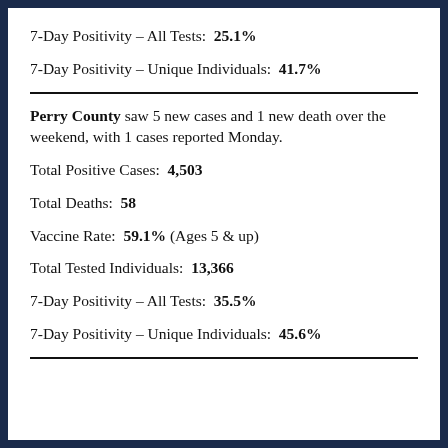7-Day Positivity – All Tests:  25.1%
7-Day Positivity – Unique Individuals:  41.7%
Perry County saw 5 new cases and 1 new death over the weekend, with 1 cases reported Monday.
Total Positive Cases:  4,503
Total Deaths:  58
Vaccine Rate:  59.1% (Ages 5 & up)
Total Tested Individuals:  13,366
7-Day Positivity – All Tests:  35.5%
7-Day Positivity – Unique Individuals:  45.6%